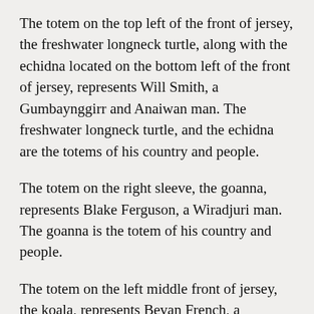The totem on the top left of the front of jersey, the freshwater longneck turtle, along with the echidna located on the bottom left of the front of jersey, represents Will Smith, a Gumbaynggirr and Anaiwan man. The freshwater longneck turtle, and the echidna are the totems of his country and people.
The totem on the right sleeve, the goanna, represents Blake Ferguson, a Wiradjuri man. The goanna is the totem of his country and people.
The totem on the left middle front of jersey, the koala, represents Bevan French, a Kamiliro